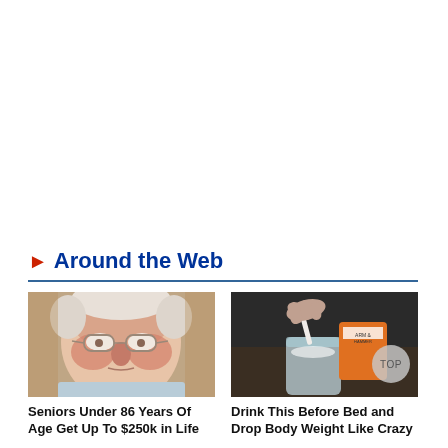▶ Around the Web
[Figure (photo): Close-up photo of an elderly man with glasses, wearing a light blue shirt, looking directly at the camera.]
Seniors Under 86 Years Of Age Get Up To $250k in Life
[Figure (photo): Photo of hands using a spoon to scoop powder from an orange bag (Arm & Hammer baking soda) into a glass jar. A circular 'TOP' badge overlay is visible.]
Drink This Before Bed and Drop Body Weight Like Crazy